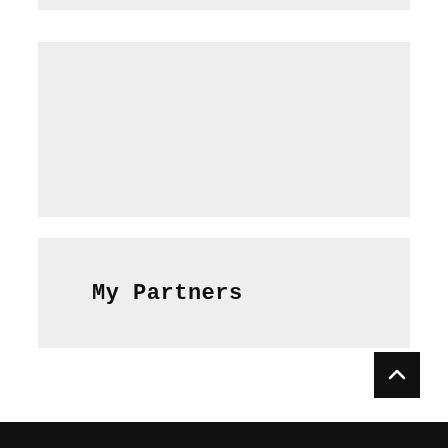[Figure (other): Top gray strip/bar at the very top of the page]
[Figure (other): Large gray placeholder box in the middle-upper area of the page]
My Partners
[Figure (other): Back to top button (dark square with upward chevron arrow) in the bottom-right area]